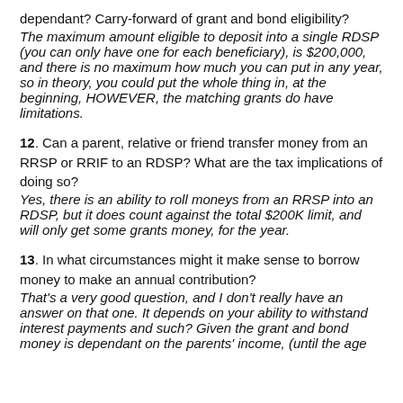dependant? Carry-forward of grant and bond eligibility? The maximum amount eligible to deposit into a single RDSP (you can only have one for each beneficiary), is $200,000, and there is no maximum how much you can put in any year, so in theory, you could put the whole thing in, at the beginning, HOWEVER, the matching grants do have limitations.
12. Can a parent, relative or friend transfer money from an RRSP or RRIF to an RDSP? What are the tax implications of doing so? Yes, there is an ability to roll moneys from an RRSP into an RDSP, but it does count against the total $200K limit, and will only get some grants money, for the year.
13. In what circumstances might it make sense to borrow money to make an annual contribution? That's a very good question, and I don't really have an answer on that one. It depends on your ability to withstand interest payments and such? Given the grant and bond money is dependant on the parents' income, (until the age...